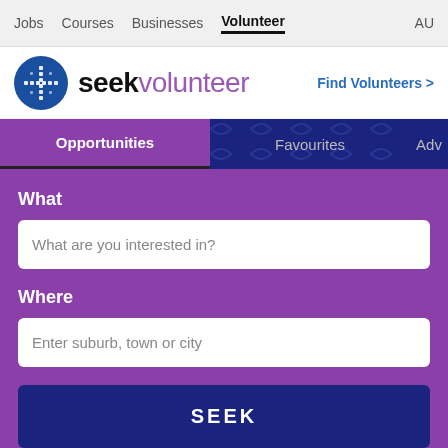Jobs  Courses  Businesses  Volunteer  AU
[Figure (logo): SEEK Volunteer logo — blue circle with arrow cross pattern, text 'seekvolunteer' in black/purple, and 'Find Volunteers >' link]
Opportunities  Favourites  Adv
What
What are you interested in?
Where
Enter suburb, town or city
SEEK